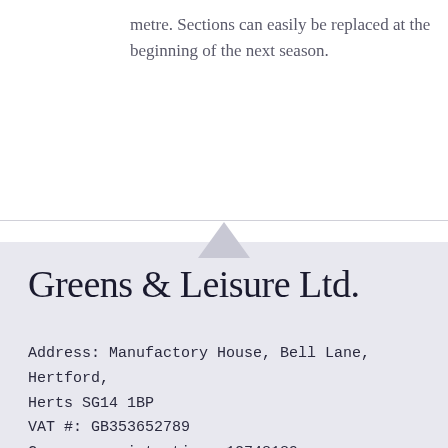metre. Sections can easily be replaced at the beginning of the next season.
Greens & Leisure Ltd.
Address: Manufactory House, Bell Lane, Hertford, Herts SG14 1BP
VAT #: GB353652789
Company registration: 12748189